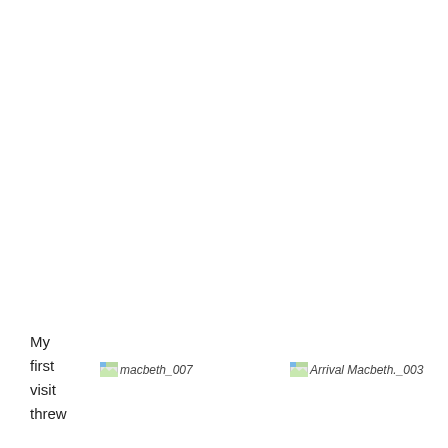My
first
visit
threw
[Figure (photo): Broken image placeholder labeled macbeth_007]
[Figure (photo): Broken image placeholder labeled Arrival Macbeth._003]